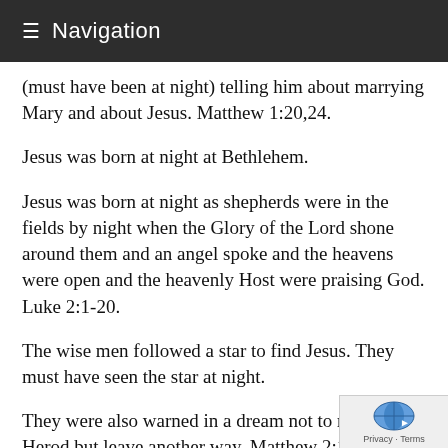≡ Navigation
(must have been at night) telling him about marrying Mary and about Jesus. Matthew 1:20,24.
Jesus was born at night at Bethlehem.
Jesus was born at night as shepherds were in the fields by night when the Glory of the Lord shone around them and an angel spoke and the heavens were open and the heavenly Host were praising God. Luke 2:1-20.
The wise men followed a star to find Jesus. They must have seen the star at night.
They were also warned in a dream not to return to Herod but leave another way. Matthew 2:1-13